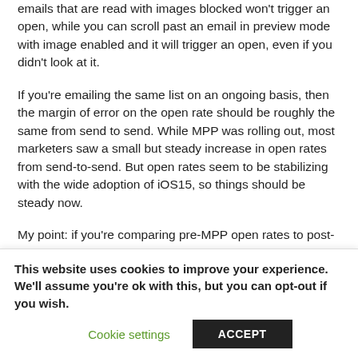emails that are read with images blocked won't trigger an open, while you can scroll past an email in preview mode with image enabled and it will trigger an open, even if you didn't look at it.
If you're emailing the same list on an ongoing basis, then the margin of error on the open rate should be roughly the same from send to send. While MPP was rolling out, most marketers saw a small but steady increase in open rates from send-to-send. But open rates seem to be stabilizing with the wide adoption of iOS15, so things should be steady now.
My point: if you're comparing pre-MPP open rates to post-MPP open rates, the comparison may not truly be apples-to-apples. But you should have a valid comparison if the open rates are all post MPP...
This website uses cookies to improve your experience. We'll assume you're ok with this, but you can opt-out if you wish.
Cookie settings | ACCEPT